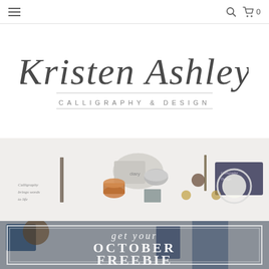Navigation header with hamburger menu, search icon, and cart (0)
[Figure (logo): Kristen Ashley Calligraphy & Design logo in cursive/script font]
[Figure (photo): Flat lay photo of calligraphy tools, stationery supplies, wax seals, and design items on white background]
[Figure (infographic): Promotional banner with text 'get your OCTOBER FREEBIE' over a dark muted photo background with a decorative border frame]